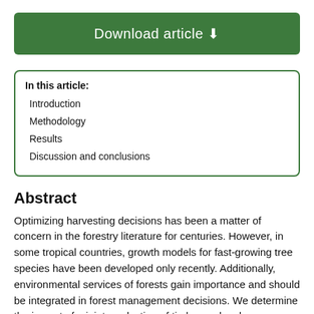[Figure (other): Green download article button with download icon]
In this article:
Introduction
Methodology
Results
Discussion and conclusions
Introduction
Methodology
Results
Discussion and conclusions
Abstract
Optimizing harvesting decisions has been a matter of concern in the forestry literature for centuries. However, in some tropical countries, growth models for fast-growing tree species have been developed only recently. Additionally, environmental services of forests gain importance and should be integrated in forest management decisions. We determine the impact of a joint production of timber and carbon sequestration on the optimal rotation of a fast-growing species in north-western Ecuador, comparing different optimization approaches and taking the latest